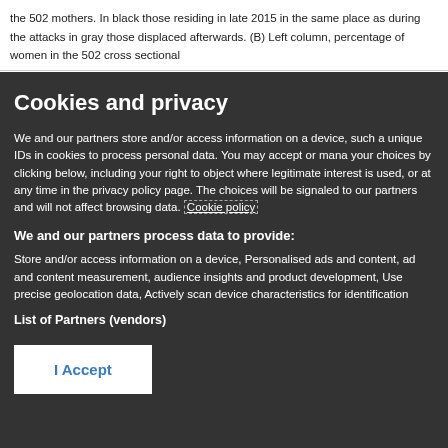the 502 mothers. In black those residing in late 2015 in the same place as during the attacks in gray those displaced afterwards. (B) Left column, percentage of women in the 502 cross sectional
Cookies and privacy
We and our partners store and/or access information on a device, such as unique IDs in cookies to process personal data. You may accept or manage your choices by clicking below, including your right to object where legitimate interest is used, or at any time in the privacy policy page. These choices will be signaled to our partners and will not affect browsing data. Cookie policy
We and our partners process data to provide:
Store and/or access information on a device, Personalised ads and content, ad and content measurement, audience insights and product development, Use precise geolocation data, Actively scan device characteristics for identification
List of Partners (vendors)
I Accept